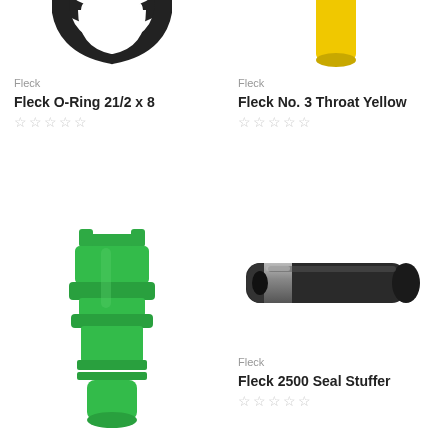[Figure (photo): Partial top view of a black O-ring, cropped at top of page]
Fleck
Fleck O-Ring 21/2 x 8
★★★★★ (empty stars rating)
[Figure (photo): Partial top view of a yellow plastic throat piece, cropped at top of page]
Fleck
Fleck No. 3 Throat Yellow
★★★★★ (empty stars rating)
[Figure (photo): Green plastic fitting/connector piece, full view]
[Figure (photo): Black cylindrical seal stuffer with silver metal band, horizontal orientation]
Fleck
Fleck 2500 Seal Stuffer
★★★★★ (empty stars rating)